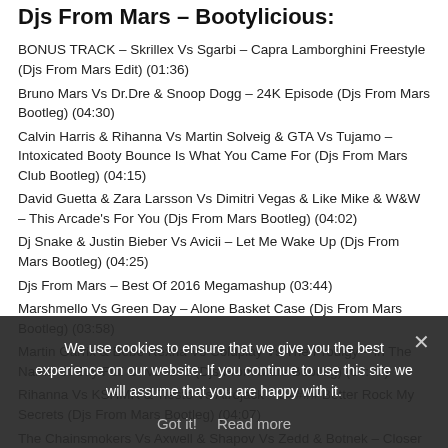Djs From Mars – Bootylicious:
BONUS TRACK – Skrillex Vs Sgarbi – Capra Lamborghini Freestyle (Djs From Mars Edit) (01:36)
Bruno Mars Vs Dr.Dre & Snoop Dogg – 24K Episode (Djs From Mars Bootleg) (04:30)
Calvin Harris & Rihanna Vs Martin Solveig & GTA Vs Tujamo – Intoxicated Booty Bounce Is What You Came For (Djs From Mars Club Bootleg) (04:15)
David Guetta & Zara Larsson Vs Dimitri Vegas & Like Mike & W&W – This Arcade's For You (Djs From Mars Bootleg) (04:02)
Dj Snake & Justin Bieber Vs Avicii – Let Me Wake Up (Djs From Mars Bootleg) (04:25)
Djs From Mars – Best Of 2016 Megamashup (03:44)
Marshmello Vs Green Day – Alone Basket Case (Djs From Mars Bootleg) (03:58)
Martin Garrix & Bebe Rexha Vs Coldplay Vs The Prodigy – In The Name Of Sky Full Of Voodoo (Djs From Mars Bootleg) (04:47)
Rihanna Vs KSHMR & Tiesto Vs Afrojack – B#### Better Rock My Secrets (Djs From Mars Bootleg) (04:07)
The Chainsmokers Vs Axwell & Shapov Vs Zedd & Botnek – Closer Bumble Beelong (Djs From Mars Bootleg) (04:33)
We use cookies to ensure that we give you the best experience on our website. If you continue to use this site we will assume that you are happy with it.
Got it!   Read more